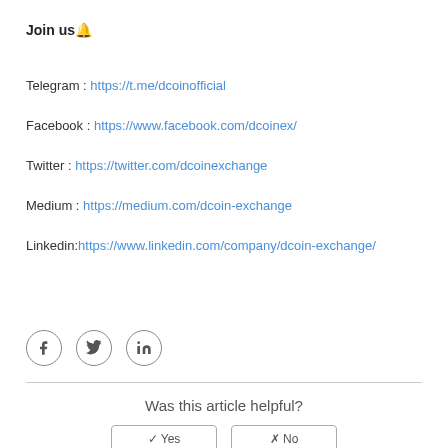Join us🔔
Telegram : https://t.me/dcoinofficial
Facebook : https://www.facebook.com/dcoinex/
Twitter : https://twitter.com/dcoinexchange
Medium : https://medium.com/dcoin-exchange
Linkedin:https://www.linkedin.com/company/dcoin-exchange/
[Figure (illustration): Social media icon circles: Facebook, Twitter, LinkedIn]
Was this article helpful?
Yes   No